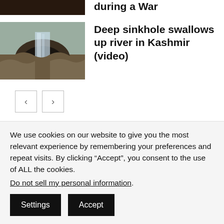[Figure (photo): Cropped dark photo thumbnail at top left, partial view of a person or scene]
... Pandemic and is Chang this Month during a War
[Figure (photo): Photo of a sinkhole swallowing a river in Kashmir, waterfall visible dropping into rocky hole]
Deep sinkhole swallows up river in Kashmir (video)
< (previous page button)
> (next page button)
Leave a reply
We use cookies on our website to give you the most relevant experience by remembering your preferences and repeat visits. By clicking “Accept”, you consent to the use of ALL the cookies.
Do not sell my personal information.
Settings
Accept